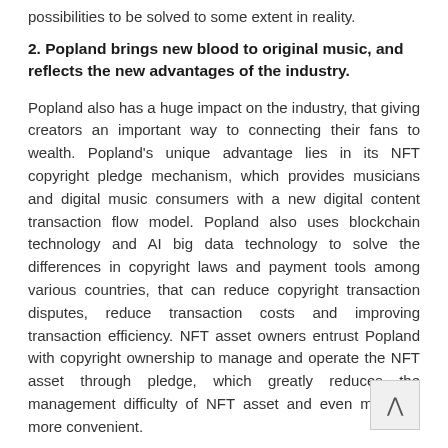possibilities to be solved to some extent in reality.
2. Popland brings new blood to original music, and reflects the new advantages of the industry.
Popland also has a huge impact on the industry, that giving creators an important way to connecting their fans to wealth. Popland's unique advantage lies in its NFT copyright pledge mechanism, which provides musicians and digital music consumers with a new digital content transaction flow model. Popland also uses blockchain technology and AI big data technology to solve the differences in copyright laws and payment tools among various countries, that can reduce copyright transaction disputes, reduce transaction costs and improving transaction efficiency. NFT asset owners entrust Popland with copyright ownership to manage and operate the NFT asset through pledge, which greatly reduces the management difficulty of NFT asset and even makes it more convenient.